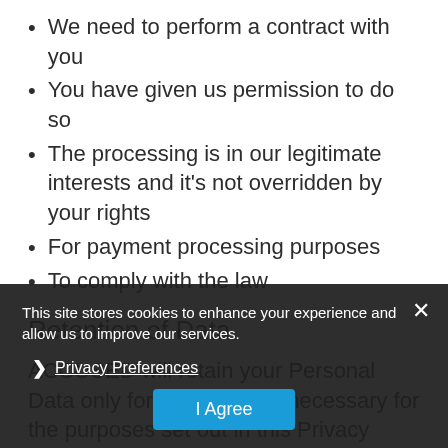We need to perform a contract with you
You have given us permission to do so
The processing is in our legitimate interests and it's not overridden by your rights
For payment processing purposes
To comply with the law
Retention of Data
ACCUSED will retain your Personal Data only for as long as is necessary for the purposes set out in this Privacy Policy. We will retain and use your Personal Data to the extent necessary to comply with our legal obligations (for example, if we are required to retain your data to comply with applicable laws), resolve disputes, and
This site stores cookies to enhance your experience and allow us to improve our services.
› Privacy Preferences
I Agree